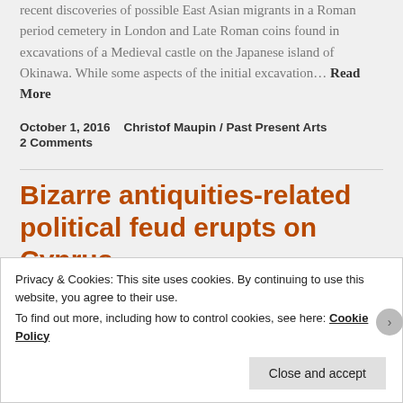recent discoveries of possible East Asian migrants in a Roman period cemetery in London and Late Roman coins found in excavations of a Medieval castle on the Japanese island of Okinawa. While some aspects of the initial excavation… Read More
October 1, 2016    Christof Maupin / Past Present Arts
2 Comments
Bizarre antiquities-related political feud erupts on Cyprus
Privacy & Cookies: This site uses cookies. By continuing to use this website, you agree to their use.
To find out more, including how to control cookies, see here: Cookie Policy
Close and accept